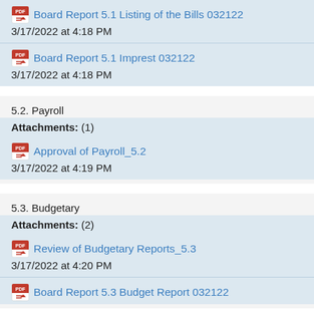Board Report 5.1 Listing of the Bills 032122
3/17/2022 at 4:18 PM
Board Report 5.1 Imprest 032122
3/17/2022 at 4:18 PM
5.2. Payroll
Attachments: (1)
Approval of Payroll_5.2
3/17/2022 at 4:19 PM
5.3. Budgetary
Attachments: (2)
Review of Budgetary Reports_5.3
3/17/2022 at 4:20 PM
Board Report 5.3 Budget Report 032122